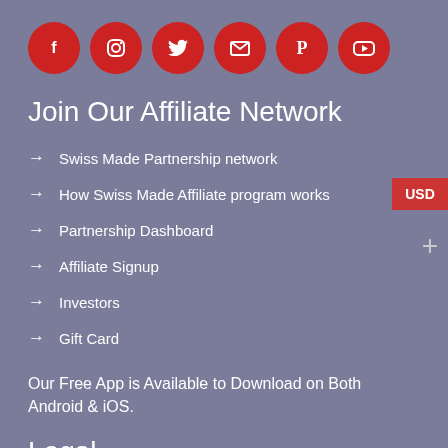[Figure (infographic): Six red circular social media icons in a row: Facebook, Instagram, Twitter, Email, Pinterest, YouTube]
Join Our Affiliate Network
Swiss Made Partnership network
How Swiss Made Affiliate program works
Partnership Dashboard
Affiliate Signup
Investors
Gift Card
Our Free App is Available to Download on Both Android & iOS.
Legal